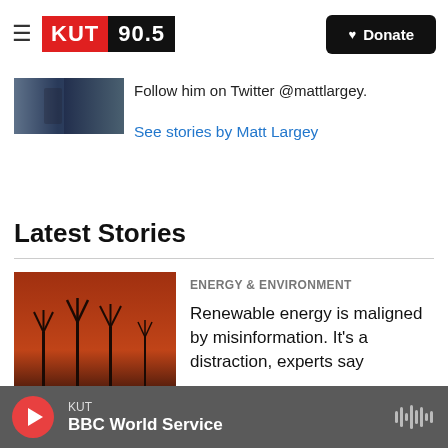KUT 90.5 — Donate
[Figure (photo): Author thumbnail image, blurred dark blue/gray tones]
Follow him on Twitter @mattlargey.
See stories by Matt Largey
Latest Stories
[Figure (photo): Wind turbines silhouetted against orange-red sunset sky]
Energy & Environment
Renewable energy is maligned by misinformation. It's a distraction, experts say
KUT — BBC World Service